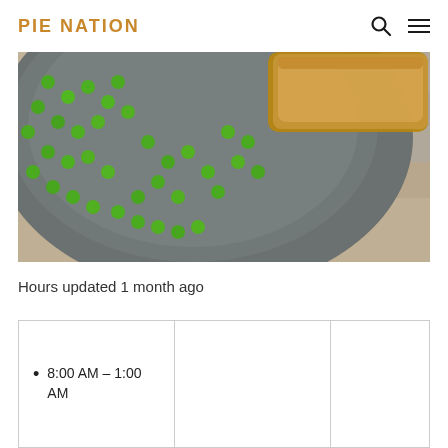PIE NATION
[Figure (photo): Close-up photo of a plate with green peas and a pie on a dark pewter/grey plate, on a wooden surface]
Hours updated 1 month ago
| • 8:00 AM – 1:00 AM |  |  |
|  | • 8:00 AM – 1:00 AM | Closed now |